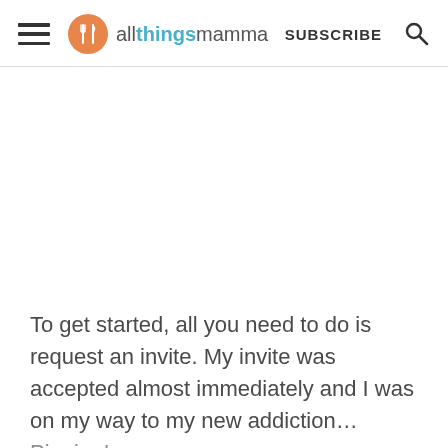allthingsmamma — SUBSCRIBE
To get started, all you need to do is request an invite. My invite was accepted almost immediately and I was on my way to my new addiction… Pinning!